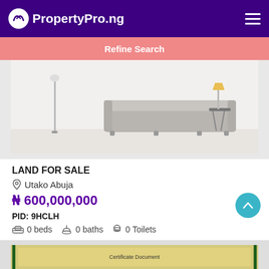PropertyPro.ng
Refine Search
[Figure (illustration): Interior room illustration showing a grey sofa, floor lamp, side table with yellow lamp on a light-coloured background]
LAND FOR SALE
Utako Abuja
₦ 600,000,000
PID: 9HCLH
0 beds  0 baths  0 Toilets
[Figure (photo): Partial view of a second property listing image, appears to be a document or certificate with green border and yellow/cream background]